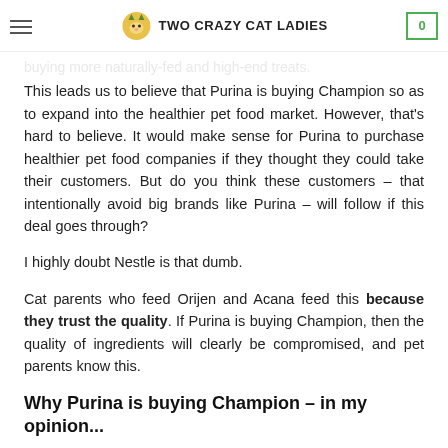Two Crazy Cat Ladies — navigation header with hamburger menu and cart (0)
This leads us to believe that Purina is buying Champion so as to expand into the healthier pet food market. However, that's hard to believe. It would make sense for Purina to purchase healthier pet food companies if they thought they could take their customers. But do you think these customers – that intentionally avoid big brands like Purina – will follow if this deal goes through?
I highly doubt Nestle is that dumb.
Cat parents who feed Orijen and Acana feed this because they trust the quality. If Purina is buying Champion, then the quality of ingredients will clearly be compromised, and pet parents know this.
Why Purina is buying Champion – in my opinion...